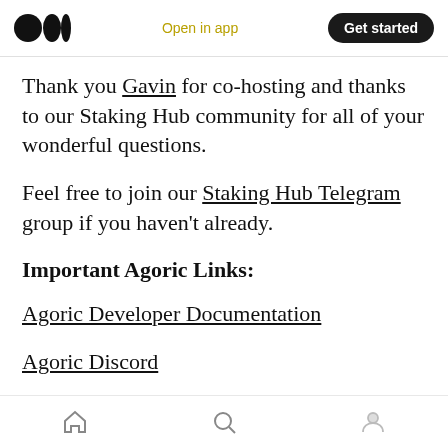Medium logo | Open in app | Get started
Thank you Gavin for co-hosting and thanks to our Staking Hub community for all of your wonderful questions.
Feel free to join our Staking Hub Telegram group if you haven't already.
Important Agoric Links:
Agoric Developer Documentation
Agoric Discord
Incentivized Testnet Information
Home | Search | Profile